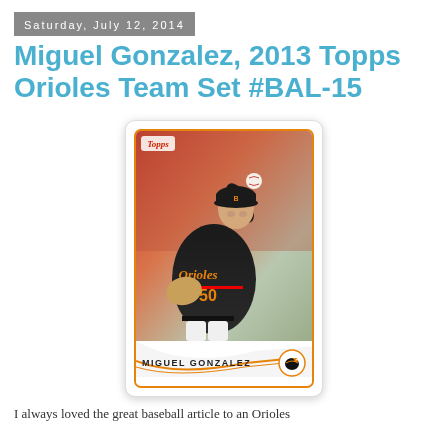Saturday, July 12, 2014
Miguel Gonzalez, 2013 Topps Orioles Team Set #BAL-15
[Figure (photo): A 2013 Topps baseball card featuring Miguel Gonzalez #50 of the Baltimore Orioles in pitching stance, wearing black Orioles jersey. Card has orange border, Topps logo top-left, Orioles bird logo bottom-right, player name 'MIGUEL GONZALEZ' at bottom.]
I always loved the great baseball article to an Orioles